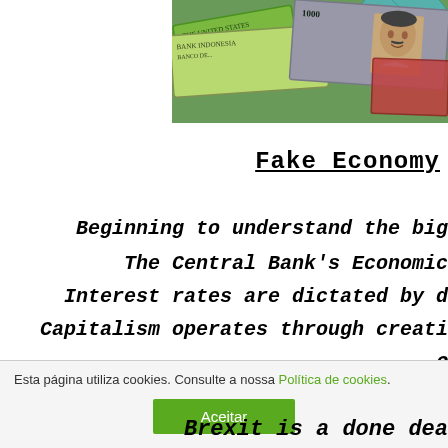[Figure (photo): Collage of international currency banknotes including US dollars, Indonesian rupiah, and Japanese yen (1000 note), with a globe visible in the background. A portrait of a man appears on one of the bills.]
Fake Economy
Beginning to understand the big
The Central Bank's Economic
Interest rates are dictated by d
Capitalism operates through creati
Esta página utiliza cookies. Consulte a nossa Política de cookies.
Aceitar
Brexit is a done dea